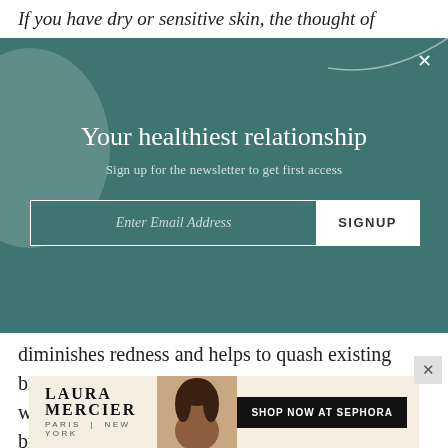If you have dry or sensitive skin, the thought of
[Figure (screenshot): Email newsletter signup modal overlay with teal/dark green background, decorative circle on left, headline 'Your healthiest relationship', subtitle 'Sign up for the newsletter to get first access', email input field with SIGNUP button]
Your healthiest relationship
Sign up for the newsletter to get first access
diminishes redness and helps to quash existing breakouts. Also in the mix? Orange peel extract, which offers antioxidant protection as well as brightening and skin-tone evening benefits (and also helps to cover up that yucky sulfur smell).
[Figure (other): Laura Mercier advertisement banner with cream background, brand logo on left, woman with curly hair in center, 'SHOP NOW AT SEPHORA' button on right]